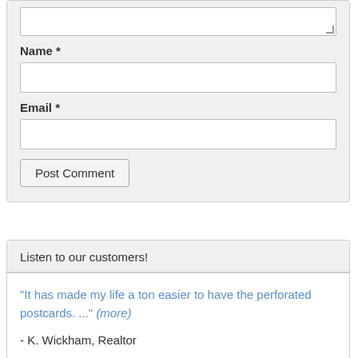[Figure (screenshot): Textarea input box (partially visible at top)]
Name *
[Figure (screenshot): Name text input field]
Email *
[Figure (screenshot): Email text input field]
[Figure (screenshot): Post Comment submit button]
Listen to our customers!
"It has made my life a ton easier to have the perforated postcards. ..." (more)
- K. Wickham, Realtor